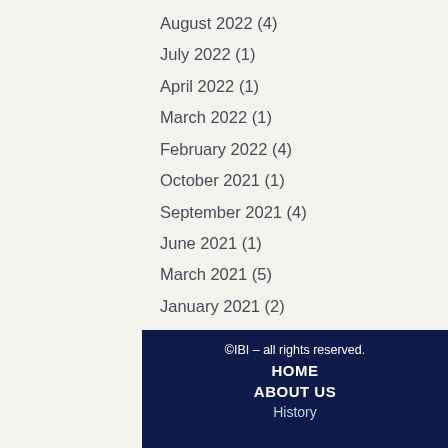August 2022 (4)
July 2022 (1)
April 2022 (1)
March 2022 (1)
February 2022 (4)
October 2021 (1)
September 2021 (4)
June 2021 (1)
March 2021 (5)
January 2021 (2)
December 2020 (3)
November 2020 (3)
October 2020 (2)
September 2020 (68)
©IBI – all rights reserved.
HOME
ABOUT US
History